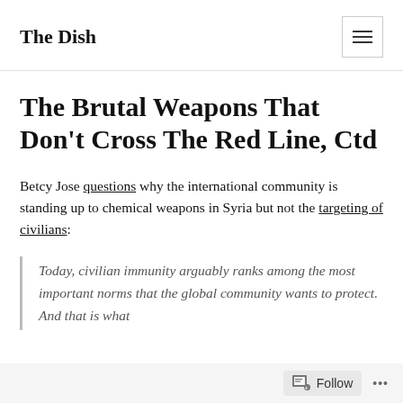The Dish
The Brutal Weapons That Don't Cross The Red Line, Ctd
Betcy Jose questions why the international community is standing up to chemical weapons in Syria but not the targeting of civilians:
Today, civilian immunity arguably ranks among the most important norms that the global community wants to protect. And that is what
Follow ...